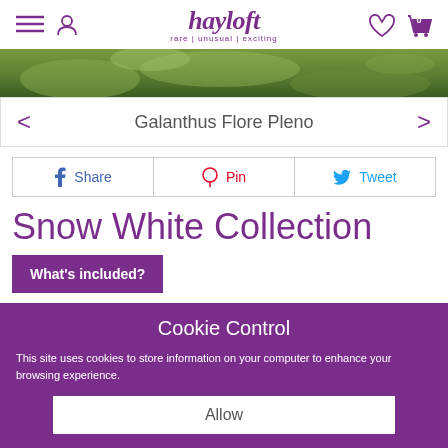hayloft | rare | unusual | exciting
[Figure (photo): Close-up of green moss or grass, partially visible at top of page]
Galanthus Flore Pleno
Share | Pin | Tweet
Snow White Collection
What's included?
Cookie Control
This site uses cookies to store information on your computer to enhance your browsing experience.
Allow